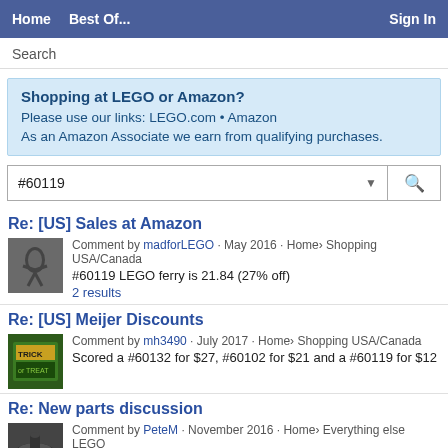Home   Best Of...   Sign In
Search
Shopping at LEGO or Amazon?
Please use our links: LEGO.com • Amazon
As an Amazon Associate we earn from qualifying purchases.
#60119
Re: [US] Sales at Amazon
Comment by madforLEGO · May 2016 · Home› Shopping USA/Canada
#60119 LEGO ferry is 21.84 (27% off)
2 results
Re: [US] Meijer Discounts
Comment by mh3490 · July 2017 · Home› Shopping USA/Canada
Scored a #60132 for $27, #60102 for $21 and a #60119 for $12
Re: New parts discussion
Comment by PeteM · November 2016 · Home› Everything else LEGO